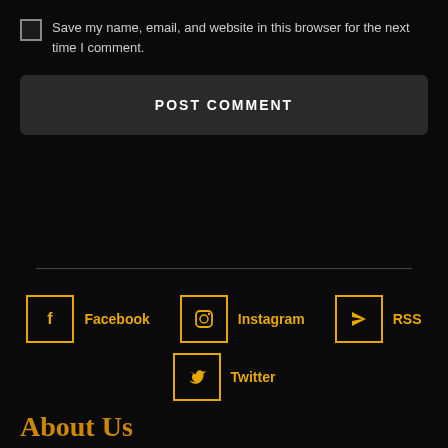Save my name, email, and website in this browser for the next time I comment.
POST COMMENT
Facebook
Instagram
RSS
Twitter
About Us